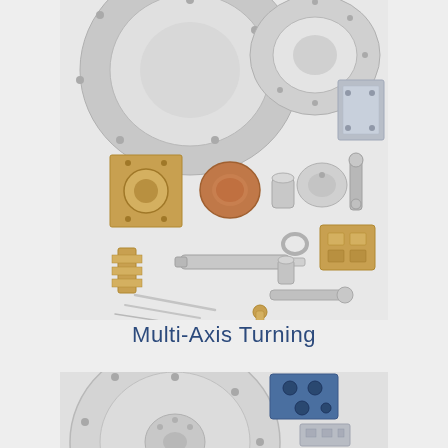[Figure (photo): Assortment of precision machined parts including rings, brackets, shafts, threaded fasteners, bushings, and connector blocks made from aluminum, brass, and steel — multi-axis turned components displayed on a white/light gray background.]
Multi-Axis Turning
[Figure (photo): Partial view of additional precision machined parts including a large circular aluminum flange/plate and a blue anodized aluminum block with holes, along with other machined components visible at the bottom of the page.]